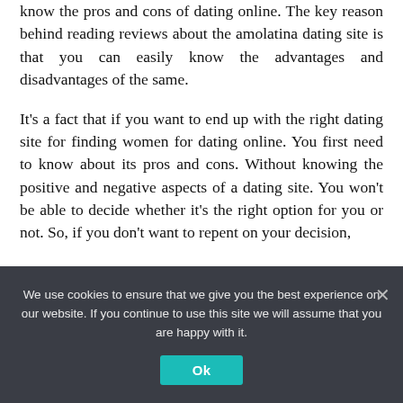know the pros and cons of dating online. The key reason behind reading reviews about the amolatina dating site is that you can easily know the advantages and disadvantages of the same.
It's a fact that if you want to end up with the right dating site for finding women for dating online. You first need to know about its pros and cons. Without knowing the positive and negative aspects of a dating site. You won't be able to decide whether it's the right option for you or not. So, if you don't want to repent on your decision,
We use cookies to ensure that we give you the best experience on our website. If you continue to use this site we will assume that you are happy with it.